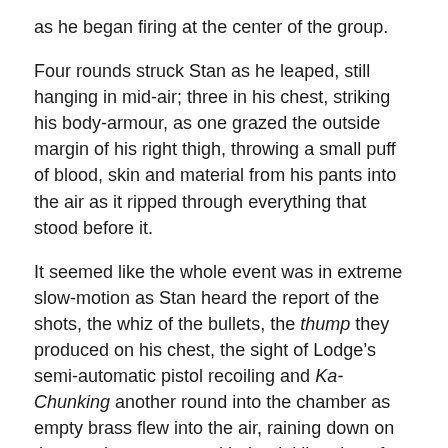as he began firing at the center of the group.
Four rounds struck Stan as he leaped, still hanging in mid-air; three in his chest, striking his body-armour, as one grazed the outside margin of his right thigh, throwing a small puff of blood, skin and material from his pants into the air as it ripped through everything that stood before it.
It seemed like the whole event was in extreme slow-motion as Stan heard the report of the shots, the whiz of the bullets, the thump they produced on his chest, the sight of Lodge’s semi-automatic pistol recoiling and Ka-Chunking another round into the chamber as empty brass flew into the air, raining down on the courthouse steps with the tinkling ring of death reverberating and splashing around them, although most people only heard the shots themselves.